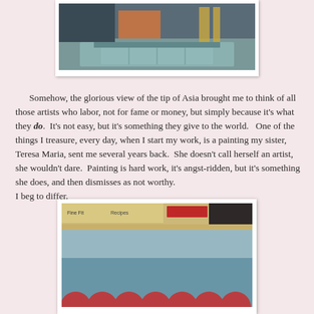[Figure (photo): Top photo showing a partial view of a scene, partially cropped at top of page]
Somehow, the glorious view of the tip of Asia brought me to think of all those artists who labor, not for fame or money, but simply because it's what they do.  It's not easy, but it's something they give to the world.   One of the things I treasure, every day, when I start my work, is a painting my sister, Teresa Maria, sent me several years back.  She doesn't call herself an artist, she wouldn't dare.  Painting is hard work, it's angst-ridden, but it's something she does, and then dismisses as not worthy.
I beg to differ.
[Figure (photo): Bottom photo showing a painting with red scalloped pattern at bottom on a blue/teal background, displayed on a shelf]